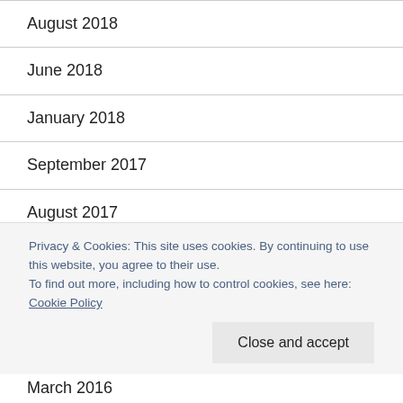August 2018
June 2018
January 2018
September 2017
August 2017
June 2017
April 2017
Privacy & Cookies: This site uses cookies. By continuing to use this website, you agree to their use.
To find out more, including how to control cookies, see here: Cookie Policy
March 2016